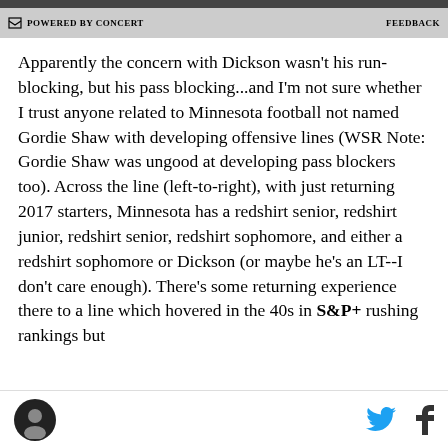POWERED BY CONCERT   FEEDBACK
Apparently the concern with Dickson wasn't his run-blocking, but his pass blocking...and I'm not sure whether I trust anyone related to Minnesota football not named Gordie Shaw with developing offensive lines (WSR Note: Gordie Shaw was ungood at developing pass blockers too). Across the line (left-to-right), with just returning 2017 starters, Minnesota has a redshirt senior, redshirt junior, redshirt senior, redshirt sophomore, and either a redshirt sophomore or Dickson (or maybe he's an LT--I don't care enough). There's some returning experience there to a line which hovered in the 40s in S&P+ rushing rankings but